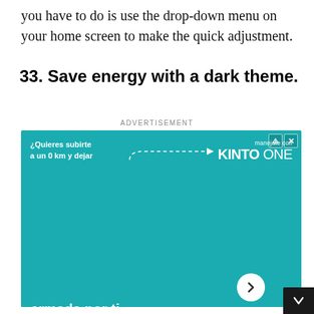you have to do is use the drop-down menu on your home screen to make the quick adjustment.
33. Save energy with a dark theme.
ADVERTISEMENT
[Figure (photo): Toyota Kinto One Personal advertisement with teal background showing three white Toyota vehicles and Spanish text '¿Quieres subirte a un 0 km y dejar atrás la lata de los trámites?' and 'Una experiencia armada por ti']